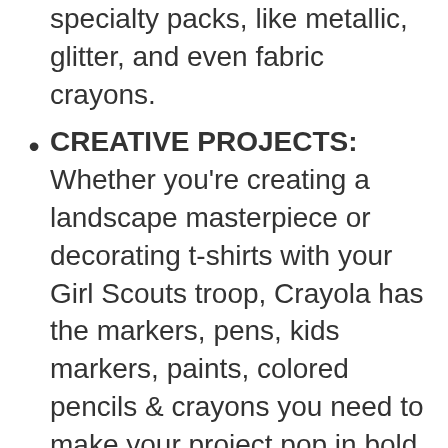specialty packs, like metallic, glitter, and even fabric crayons.
CREATIVE PROJECTS: Whether you're creating a landscape masterpiece or decorating t-shirts with your Girl Scouts troop, Crayola has the markers, pens, kids markers, paints, colored pencils & crayons you need to make your project pop in bold, bright colors.
CRAYOLA CRAYONS are a must-have art supply for your tiny Van Gogh. The classic colors are always a hit with kiddos, from My First Palm